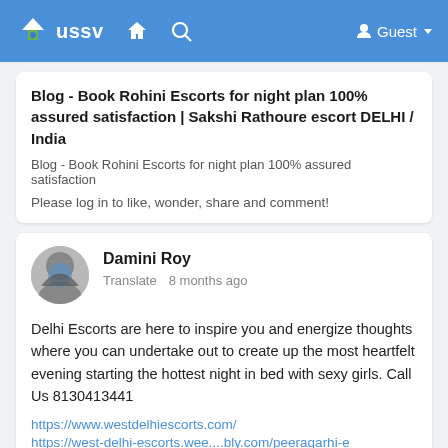ussv — Guest
Blog - Book Rohini Escorts for night plan 100% assured satisfaction | Sakshi Rathoure escort DELHI / India
Blog - Book Rohini Escorts for night plan 100% assured satisfaction
Please log in to like, wonder, share and comment!
Damini Roy
Translate   8 months ago
Delhi Escorts are here to inspire you and energize thoughts where you can undertake out to create up the most heartfelt evening starting the hottest night in bed with sexy girls. Call Us 8130413441
https://www.westdelhiescorts.com/
https://west-delhi-escorts.wee....bly.com/peeragarhi-e
Delhi Escorts Service | 8130413441| West Delhi Escorts